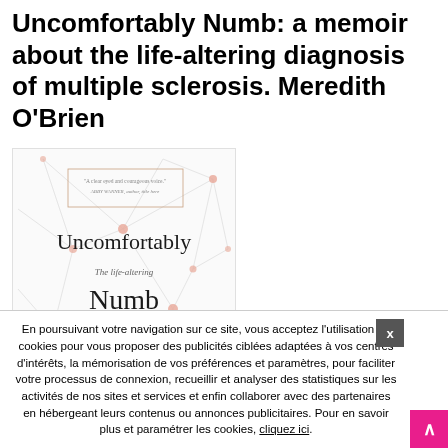Uncomfortably Numb: a memoir about the life-altering diagnosis of multiple sclerosis. Meredith O'Brien
[Figure (illustration): Book cover of 'Uncomfortably Numb' showing the title text 'Uncomfortably', subtitle 'The life-altering', 'Numb', 'diagnosis of', 'a memoir' on a white background with neural network-like line art and orange/pink neuron nodes. A quote box at the top and author name implied.]
En poursuivant votre navigation sur ce site, vous acceptez l'utilisation de cookies pour vous proposer des publicités ciblées adaptées à vos centres d'intérêts, la mémorisation de vos préférences et paramètres, pour faciliter votre processus de connexion, recueillir et analyser des statistiques sur les activités de nos sites et services et enfin collaborer avec des partenaires en hébergeant leurs contenus ou annonces publicitaires. Pour en savoir plus et paramétrer les cookies, cliquez ici.